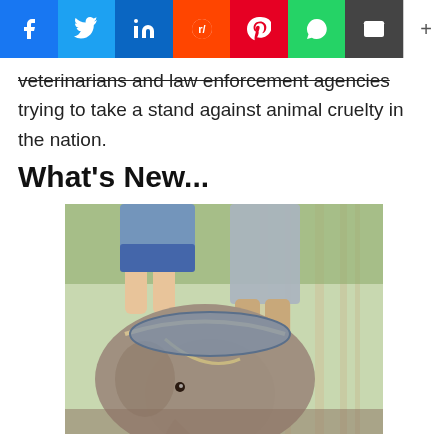Social share bar: Facebook, Twitter, LinkedIn, Reddit, Pinterest, WhatsApp, Email, +
veterinarians and law enforcement agencies trying to take a stand against animal cruelty in the nation.
What's New...
[Figure (photo): People riding an elephant outdoors among trees; the elephant is young with a rope harness, seen from a close angle showing its back and head with riders on top.]